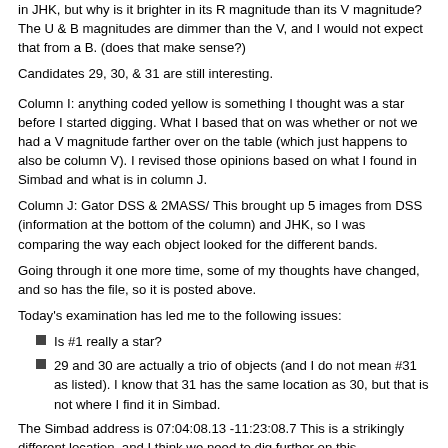in JHK, but why is it brighter in its R magnitude than its V magnitude? The U & B magnitudes are dimmer than the V, and I would not expect that from a B. (does that make sense?)
Candidates 29, 30, & 31 are still interesting.
Column I: anything coded yellow is something I thought was a star before I started digging. What I based that on was whether or not we had a V magnitude farther over on the table (which just happens to also be column V). I revised those opinions based on what I found in Simbad and what is in column J.
Column J: Gator DSS & 2MASS/ This brought up 5 images from DSS (information at the bottom of the column) and JHK, so I was comparing the way each object looked for the different bands.
Going through it one more time, some of my thoughts have changed, and so has the file, so it is posted above.
Today's examination has led me to the following issues:
Is #1 really a star?
29 and 30 are actually a trio of objects (and I do not mean #31 as listed). I know that 31 has the same location as 30, but that is not where I find it in Simbad.
The Simbad address is 07:04:08.13 -11:23:08.7 This is a strikingly different location, and I think we need to dig further on this.